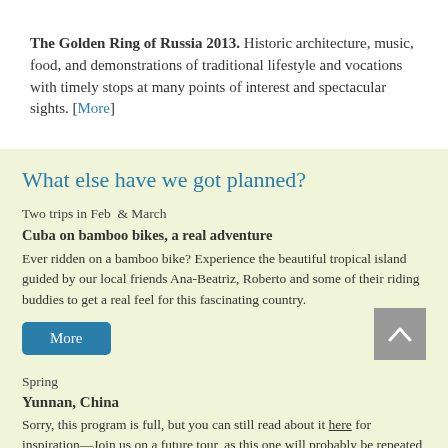The Golden Ring of Russia 2013. Historic architecture, music, food, and demonstrations of traditional lifestyle and vocations with timely stops at many points of interest and spectacular sights. [More]
What else have we got planned?
Two trips in Feb & March
Cuba on bamboo bikes, a real adventure
Ever ridden on a bamboo bike? Experience the beautiful tropical island guided by our local friends Ana-Beatriz, Roberto and some of their riding buddies to get a real feel for this fascinating country.
More
Spring
Yunnan, China
Sorry, this program is full, but you can still read about it here for inspiration—Join us on a future tour, as this one will probably be repeated at a later date.